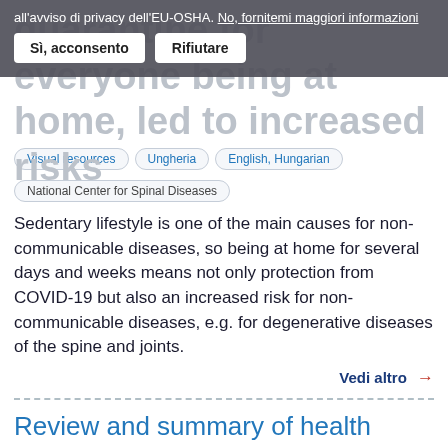quarantine for everyone being at home, led to increased risks
all'avviso di privacy dell'EU-OSHA. No, fornitemi maggiori informazioni
Sì, acconsento   Rifiutare
Visual resources
Ungheria
English, Hungarian
National Center for Spinal Diseases
Sedentary lifestyle is one of the main causes for non-communicable diseases, so being at home for several days and weeks means not only protection from COVID-19 but also an increased risk for non-communicable diseases, e.g. for degenerative diseases of the spine and joints.
Vedi altro →
Review and summary of health promotion methods, techniques,